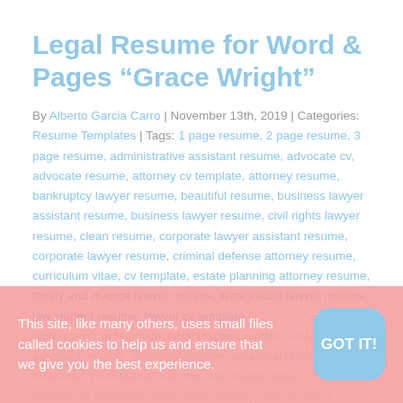Legal Resume for Word & Pages “Grace Wright”
By Alberto Garcia Carro | November 13th, 2019 | Categories: Resume Templates | Tags: 1 page resume, 2 page resume, 3 page resume, administrative assistant resume, advocate cv, advocate resume, attorney cv template, attorney resume, bankruptcy lawyer resume, beautiful resume, business lawyer assistant resume, business lawyer resume, civil rights lawyer resume, clean resume, corporate lawyer assistant resume, corporate lawyer resume, criminal defense attorney resume, curriculum vitae, cv template, estate planning attorney resume, family and divorce lawyer resume, immigration lawyer resume, law student resume, lawyer cv template, lawyer resume template, legal resume, modern resume, office assistant resume, paralegal resume, paralegal resume free download, professional resume, real estate lawyer resume, resume for advocate, resume for attorney, resume for lawyer, resume for solicitor, resume template
This site, like many others, uses small files called cookies to help us and ensure that we give you the best experience.